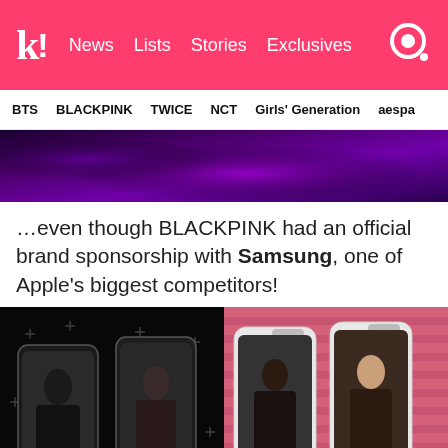k! News  Lists  Stories  Exclusives
BTS  BLACKPINK  TWICE  NCT  Girls' Generation  aespa
[Figure (photo): Dark purple/violet stage lighting background image strip]
…even though BLACKPINK had an official brand sponsorship with Samsung, one of Apple's biggest competitors!
[Figure (photo): BLACKPINK Samsung Galaxy A80 promotion - four members shown on phone screens, left side dark background with stars, right side pink brick-pattern background]